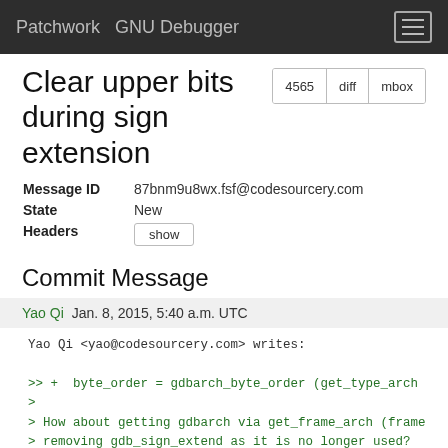Patchwork  GNU Debugger
Clear upper bits during sign extension
| Message ID | 87bnm9u8wx.fsf@codesourcery.com |
| State | New |
| Headers | show |
Commit Message
Yao Qi  Jan. 8, 2015, 5:40 a.m. UTC
Yao Qi <yao@codesourcery.com> writes:

>> +  byte_order = gdbarch_byte_order (get_type_arch
>
> How about getting gdbarch via get_frame_arch (frame
> removing gdb_sign_extend as it is no longer used?
>